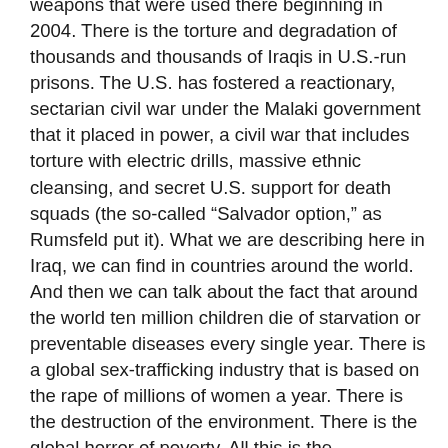weapons that were used there beginning in 2004. There is the torture and degradation of thousands and thousands of Iraqis in U.S.-run prisons. The U.S. has fostered a reactionary, sectarian civil war under the Malaki government that it placed in power, a civil war that includes torture with electric drills, massive ethnic cleansing, and secret U.S. support for death squads (the so-called “Salvador option,” as Rumsfeld put it). What we are describing here in Iraq, we can find in countries around the world. And then we can talk about the fact that around the world ten million children die of starvation or preventable diseases every single year. There is a global sex-trafficking industry that is based on the rape of millions of women a year. There is the destruction of the environment. There is the global horror of poverty. All this is the